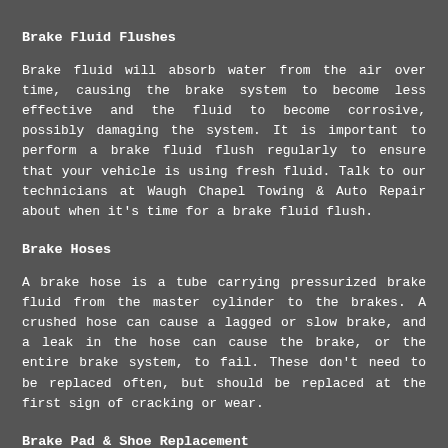Brake Fluid Flushes
Brake fluid will absorb water from the air over time, causing the brake system to become less effective and the fluid to become corrosive, possibly damaging the system. It is important to perform a brake fluid flush regularly to ensure that your vehicle is using fresh fluid. Talk to our technicians at Waugh Chapel Towing & Auto Repair about when it's time for a brake fluid flush.
Brake Hoses
A brake hose is a tube carrying pressurized brake fluid from the master cylinder to the brakes. A crushed hose can cause a lagged or slow brake, and a leak in the hose can cause the brake, or the entire brake system, to fail. These don't need to be replaced often, but should be replaced at the first sign of cracking or wear.
Brake Pad & Shoe Replacement
Brake pad problems can usually be identified by squealing brakes. If